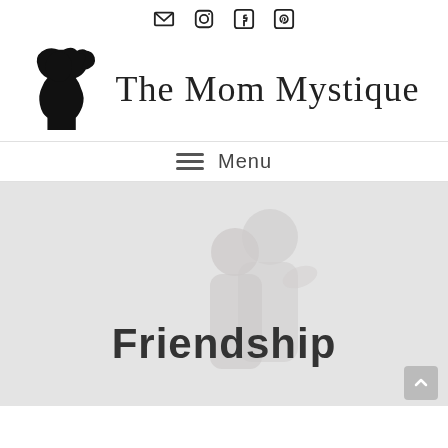[Figure (logo): Social media icons: email envelope, Instagram, Facebook, Pinterest]
[Figure (logo): The Mom Mystique logo with woman silhouette and serif site title text]
Menu
Friendship
[Figure (photo): Faded background photo of a smiling couple in white clothing]